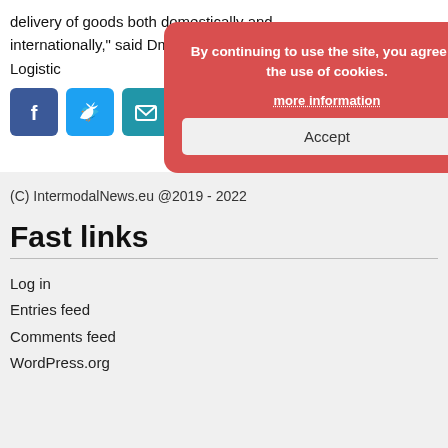delivery of goods both domestically and internationally," said Dmitry Murev, CEO of Fesco Logistic
[Figure (screenshot): Social media share icons: Facebook (blue), Twitter (blue), Email (teal), LinkedIn (red/dark)]
[Figure (screenshot): Cookie consent modal with red background. Text: 'By continuing to use the site, you agree to the use of cookies.' Link: 'more information'. Button: 'Accept']
(C) IntermodalNews.eu @2019 - 2022
Fast links
Log in
Entries feed
Comments feed
WordPress.org